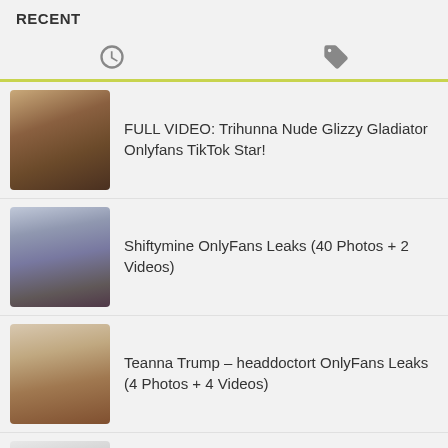RECENT
FULL VIDEO: Trihunna Nude Glizzy Gladiator Onlyfans TikTok Star!
Shiftymine OnlyFans Leaks (40 Photos + 2 Videos)
Teanna Trump – headdoctort OnlyFans Leaks (4 Photos + 4 Videos)
Skye Blue – skyebluewantsu OnlyFans Leaks (49 Photos + 4 Videos)